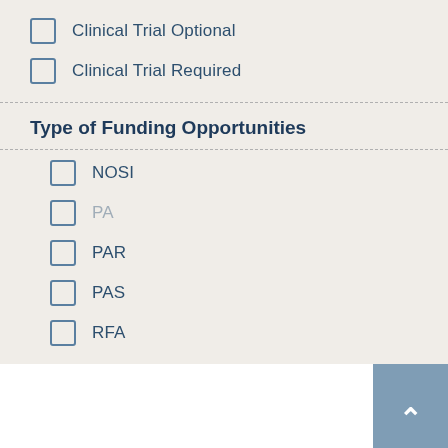Clinical Trial Optional
Clinical Trial Required
Type of Funding Opportunities
NOSI
PA
PAR
PAS
RFA
How To Apply for Funding